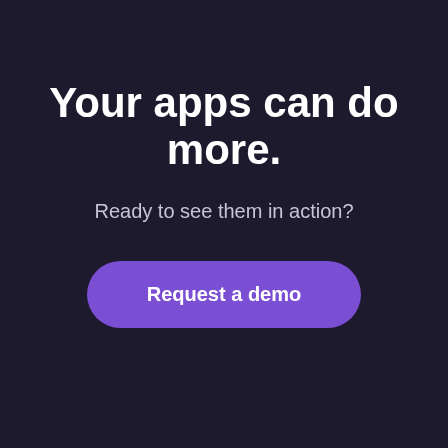Your apps can do more.
Ready to see them in action?
Request a demo